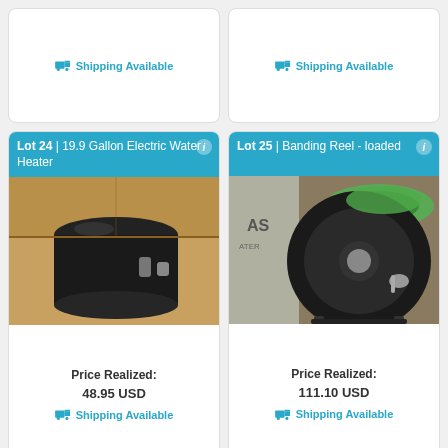🚚 Shipping Available
🚚 Shipping Available
Lot 24 | 19.9 Gallon Electric Water Heater
[Figure (photo): Photo of a 19.9 Gallon Electric Water Heater in a cardboard box]
Price Realized: 48.95 USD
🚚 Shipping Available
Lot 25 | Banding Reel - loaded
[Figure (photo): Photo of a loaded Banding Reel]
Price Realized: 111.10 USD
🚚 Shipping Available